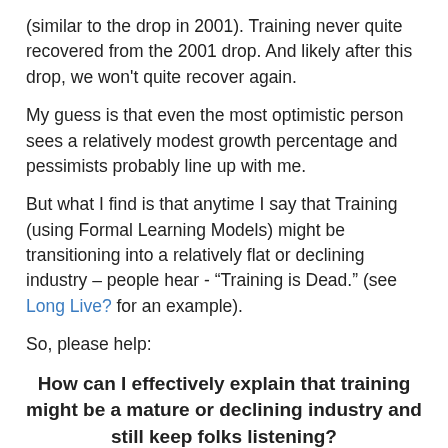(similar to the drop in 2001). Training never quite recovered from the 2001 drop. And likely after this drop, we won't quite recover again.
My guess is that even the most optimistic person sees a relatively modest growth percentage and pessimists probably line up with me.
But what I find is that anytime I say that Training (using Formal Learning Models) might be transitioning into a relatively flat or declining industry – people hear - "Training is Dead." (see Long Live? for an example).
So, please help:
How can I effectively explain that training might be a mature or declining industry and still keep folks listening?
One thing I have tried to do is use an analogy. On a phone call the other day, I used the unfortunately analogy of the railroads. At one point railroads were in hyper growth mode, then they matured and consolidated. Then they were...